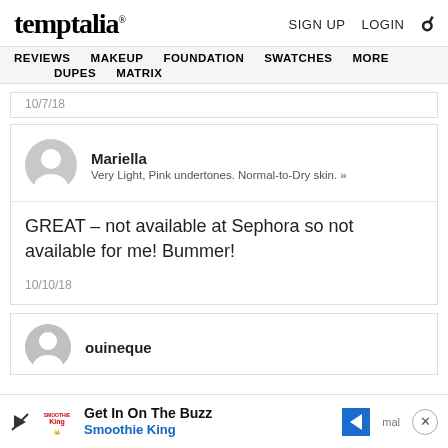temptalia® | SIGN UP  LOGIN  🔍
REVIEWS  MAKEUP  FOUNDATION  SWATCHES  MORE  DUPES  MATRIX
10/7/18
Mariella
Very Light, Pink undertones. Normal-to-Dry skin. »
GREAT – not available at Sephora so not available for me! Bummer!
10/10/18
ouineque
Get In On The Buzz
Smoothie King